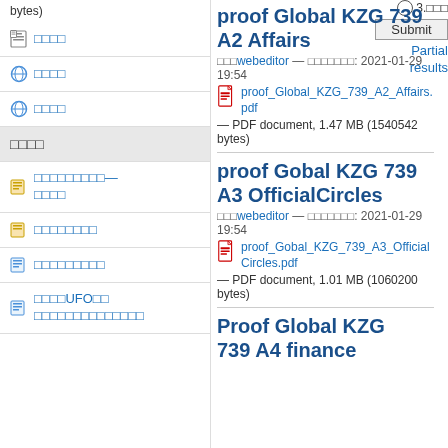bytes)
3.□□□
Submit
Partial results
□□□□
□□□□
□□□□
□□□□
□□□□□□□□□— □□□□
□□□□□□□□
□□□□□□□□□
□□□□UFO□□ □□□□□□□□□□□□□□
proof Global KZG 739 A2 Affairs
□□□webeditor — □□□□□□□: 2021-01-29 19:54
proof_Global_KZG_739_A2_Affairs.pdf
— PDF document, 1.47 MB (1540542 bytes)
proof Gobal KZG 739 A3 OfficialCircles
□□□webeditor — □□□□□□□: 2021-01-29 19:54
proof_Gobal_KZG_739_A3_OfficialCircles.pdf
— PDF document, 1.01 MB (1060200 bytes)
Proof Global KZG 739 A4 finance